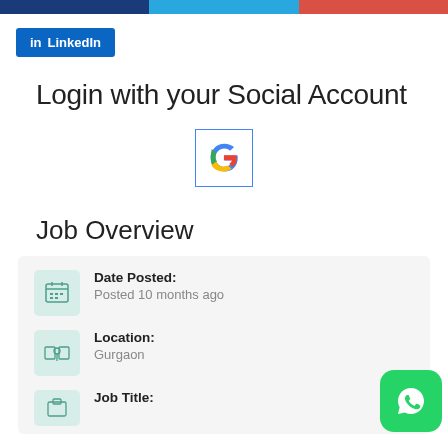[Figure (other): Three-color horizontal bar (dark blue, cyan, red)]
[Figure (other): LinkedIn login button with 'in' icon and 'LinkedIn' text on dark blue background]
Login with your Social Account
[Figure (logo): Google 'G' logo button with blue border]
Job Overview
Date Posted: Posted 10 months ago
Location: Gurgaon
Job Title:
[Figure (logo): WhatsApp green rounded square icon]